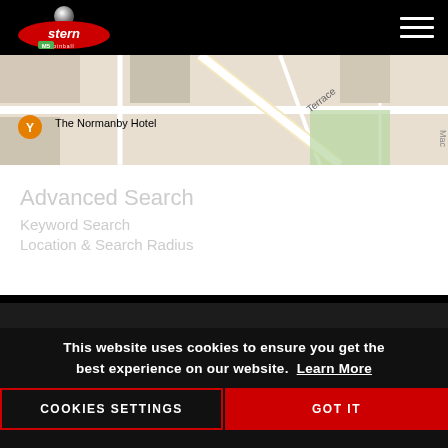[Figure (logo): Stern Pinball logo with silver ball on top, red oval with 'stern' text and 'pinball' below, green M5 road sign badge]
[Figure (map): Google Maps screenshot showing street map with The Normanby Hotel marker, Fortitude Valley label, The Caille label, and Terrace street]
There were no results found.
This website uses cookies to ensure you get the best experience on our website. Learn More
COOKIES SETTINGS
GOT IT